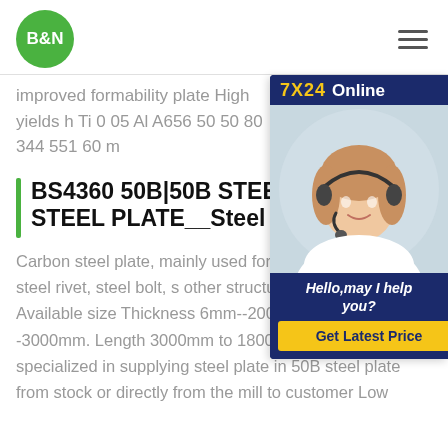B&N
improved formability plate High yields h Ti 0 05 Al A656 50 50 80 344 551 60 m
[Figure (other): Customer service chat widget with 7X24 Online label, woman with headset photo, Hello may I help you text, and Get Latest Price button]
BS4360 50B|50B STEEL|5 STEEL PLATE__Steel Sup
Carbon steel plate, mainly used for the various types of steel rivet, steel bolt, s other structural components. Available size Thickness 6mm--200mm. Width 900mm--3000mm. Length 3000mm to 18000mm. HDPE PIPE is specialized in supplying steel plate in 50B steel plate from stock or directly from the mill to customer Low